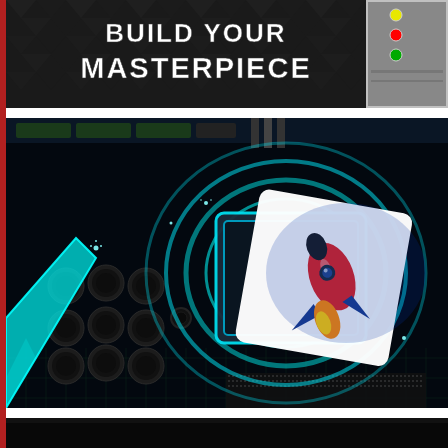[Figure (photo): Top banner image showing a dark gaming PC case with triangular pattern background, white bold text 'BUILD YOUR MASTERPIECE', and audio/video ports visible on the right side]
[Figure (illustration): Close-up photo of a motherboard with electronic components (capacitors, CPU socket area) with glowing cyan/blue light effects and circuit traces. A white rocket ship logo with red rocket graphic is overlaid on the CPU socket area in the upper right.]
[Figure (photo): Bottom partial image showing a dark/black background, beginning of another image section]